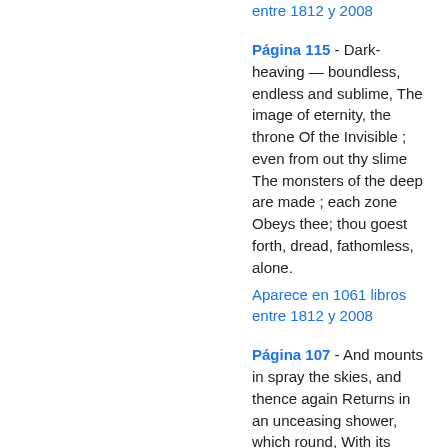entre 1812 y 2008
Página 115 - Dark-heaving — boundless, endless and sublime, The image of eternity, the throne Of the Invisible ; even from out thy slime The monsters of the deep are made ; each zone Obeys thee; thou goest forth, dread, fathomless, alone.
Aparece en 1061 libros entre 1812 y 2008
Página 107 - And mounts in spray the skies, and thence again Returns in an unceasing shower, which round, With its unemptied cloud of gentle rain, Is an